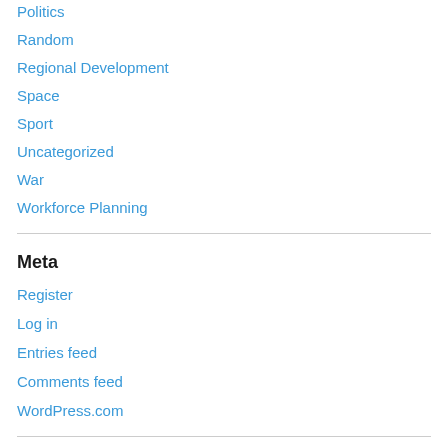Politics
Random
Regional Development
Space
Sport
Uncategorized
War
Workforce Planning
Meta
Register
Log in
Entries feed
Comments feed
WordPress.com
Search